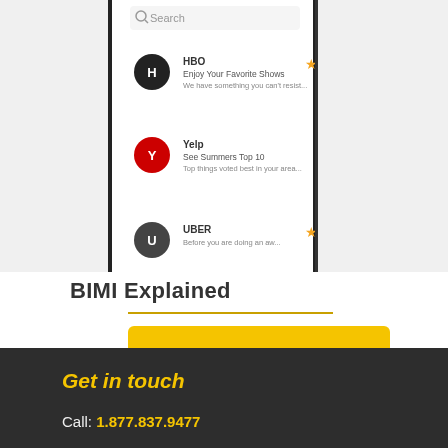[Figure (screenshot): Two smartphone screens side by side showing email notification lists with app icons for HBO, Yelp, and UBER. Left screen shows generic letter icons; right screen shows branded logo icons. Orange star markers appear next to some notifications.]
BIMI Explained
Read more
Comments are closed.
Get in touch
Call: 1.877.837.9477